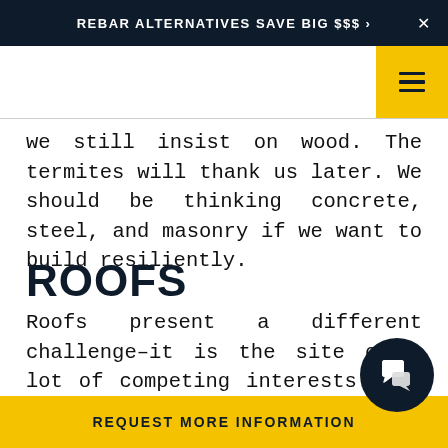REBAR ALTERNATIVES SAVE BIG $$$ ›   ✕
we still insist on wood. The termites will thank us later. We should be thinking concrete, steel, and masonry if we want to build resiliently.
ROOFS
Roofs present a different challenge–it is the site of a lot of competing interests. The need to elevate building systems, site renewable power generation, and provide additional green space/space for amenities. There are pro/cons to each, and make
REQUEST MORE INFORMATION